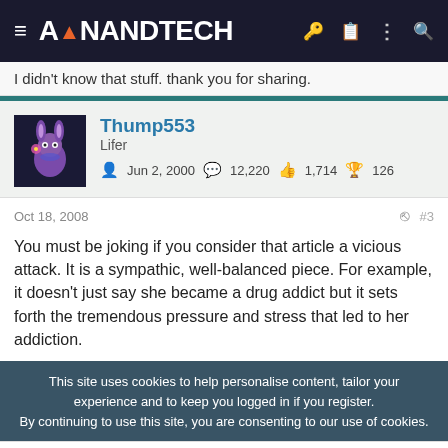AnandTech navigation bar
I didn't know that stuff. thank you for sharing.
Thump553
Lifer
Jun 2, 2000 | 12,220 | 1,714 | 126
Oct 18, 2008  #3
You must be joking if you consider that article a vicious attack. It is a sympathic, well-balanced piece. For example, it doesn't just say she became a drug addict but it sets forth the tremendous pressure and stress that led to her addiction.
This site uses cookies to help personalise content, tailor your experience and to keep you logged in if you register.
By continuing to use this site, you are consenting to our use of cookies.
Leesburg  OPEN  10AM–9PM